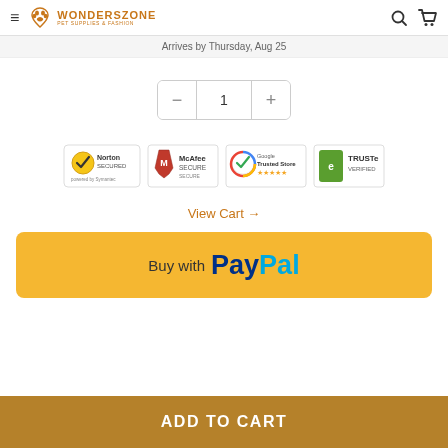WONDERSZONE PET SUPPLIES & FASHION
Arrives by Thursday, Aug 25
1 (quantity selector)
[Figure (infographic): Four trust/security badges: Norton SECURED powered by Symantec, McAfee SECURE, Google Trusted Store (5 stars), TRUSTe VERIFIED]
View Cart →
[Figure (infographic): PayPal button: Buy with PayPal on golden/yellow background]
ADD TO CART